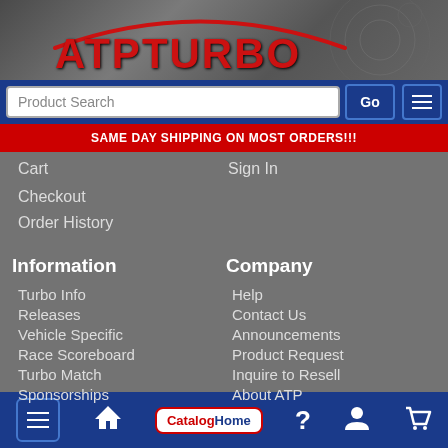[Figure (logo): ATP Turbo logo with red stylized text and arc graphic on dark metallic background]
Product Search
Go
SAME DAY SHIPPING ON MOST ORDERS!!!
Cart
Checkout
Order History
Sign In
Information
Turbo Info
Releases
Vehicle Specific
Race Scoreboard
Turbo Match
Sponsorships
FAQ
Garrett Part# Search
Company
Help
Contact Us
Announcements
Product Request
Inquire to Resell
About ATP
Menu | Home | CatalogHome | ? | Account | Cart